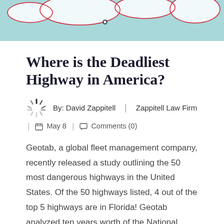[Figure (map): Partial map image showing US geography with teal/aqua background and white landmasses with red outlines, partially cropped at top]
Where is the Deadliest Highway in America?
By: David Zappitell | Zappitell Law Firm
May 8 | Comments (0)
Geotab, a global fleet management company, recently released a study outlining the 50 most dangerous highways in the United States. Of the 50 highways listed, 4 out of the top 5 highways are in Florida! Geotab analyzed ten years worth of the National Highway Traffic Safety Administration raw accident data, looking specifically for road fatalities